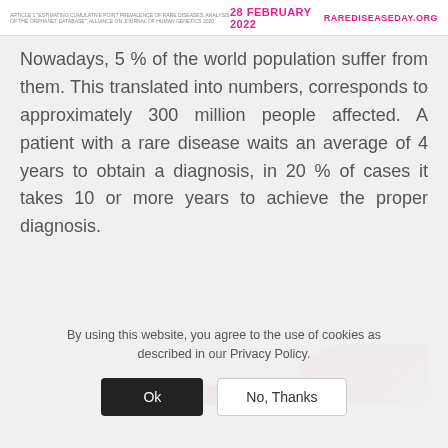28 FEBRUARY 2022 | RAREDISEASEDAY.ORG
Nowadays, 5 % of the world population suffer from them. This translated into numbers, corresponds to approximately 300 million people affected. A patient with a rare disease waits an average of 4 years to obtain a diagnosis, in 20 % of cases it takes 10 or more years to achieve the proper diagnosis.
[Figure (other): Partial banner with pink graphic elements and globe illustration from Rare Disease Day website]
By using this website, you agree to the use of cookies as described in our Privacy Policy.
Ok   No, Thanks